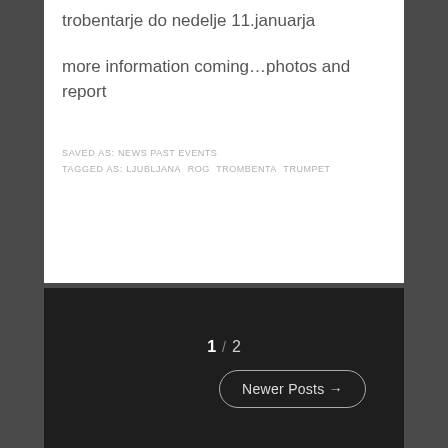trobentarje do nedelje 11.januarja
more information coming…photos and report
SAVED AS: NEWS PAST EVENTS
TAGGED AS: LJUBLJANA ROG TROMBENTA TRUMPET
1 / 2   Newer Posts →